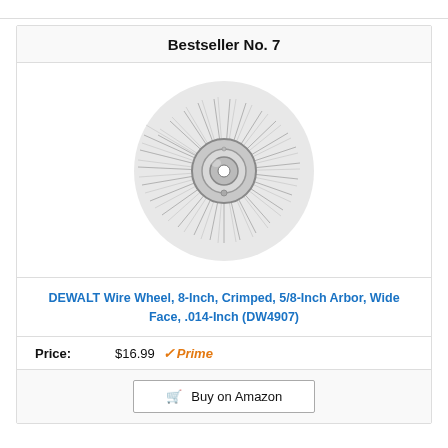Bestseller No. 7
[Figure (photo): DEWALT Wire Wheel brush, 8-inch circular wire wheel with crimped wires radiating outward from a central metal hub with arbor hole]
DEWALT Wire Wheel, 8-Inch, Crimped, 5/8-Inch Arbor, Wide Face, .014-Inch (DW4907)
Price: $16.99 Prime
Buy on Amazon